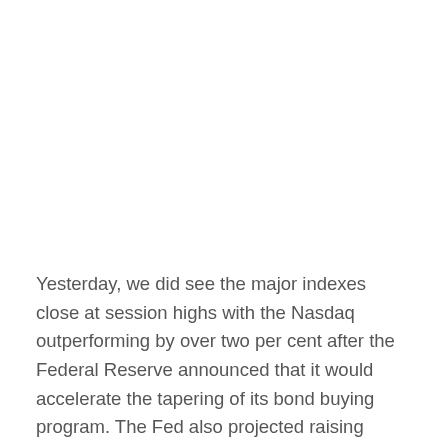Yesterday, we did see the major indexes close at session highs with the Nasdaq outperforming by over two per cent after the Federal Reserve announced that it would accelerate the tapering of its bond buying program. The Fed also projected raising interest rates as soon as next year, which was in line with market expectations. That's why we saw a